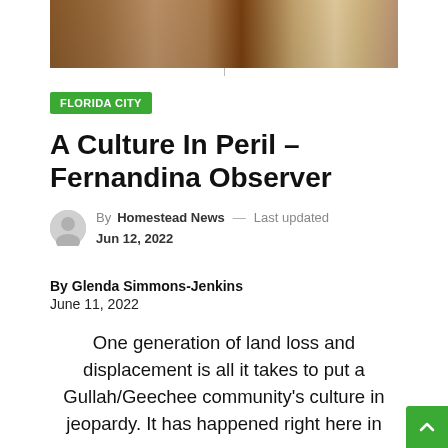[Figure (photo): Cropped photograph showing people in a warm-toned indoor setting, partially visible at top of page]
FLORIDA CITY
A Culture In Peril – Fernandina Observer
By Homestead News — Last updated Jun 12, 2022
By Glenda Simmons-Jenkins
June 11, 2022
One generation of land loss and displacement is all it takes to put a Gullah/Geechee community's culture in jeopardy. It has happened right here in